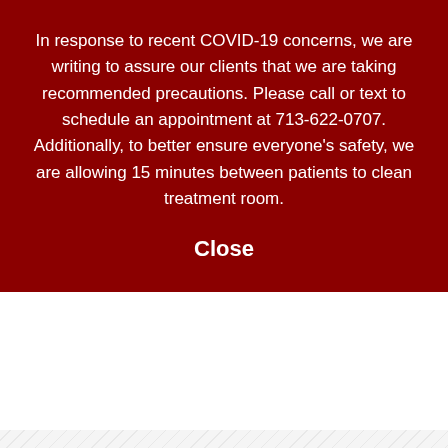In response to recent COVID-19 concerns, we are writing to assure our clients that we are taking recommended precautions. Please call or text to schedule an appointment at 713-622-0707. Additionally, to better ensure everyone's safety, we are allowing 15 minutes between patients to clean treatment room.
Close
Home > Articles